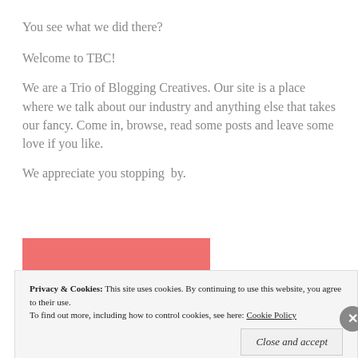You see what we did there?
Welcome to TBC!
We are a Trio of Blogging Creatives. Our site is a place where we talk about our industry and anything else that takes our fancy. Come in, browse, read some posts and leave some love if you like.
We appreciate you stopping  by.
[Figure (illustration): Red/salmon colored rectangle with italic text 'The ones' in dark red]
Privacy & Cookies: This site uses cookies. By continuing to use this website, you agree to their use. To find out more, including how to control cookies, see here: Cookie Policy
Close and accept